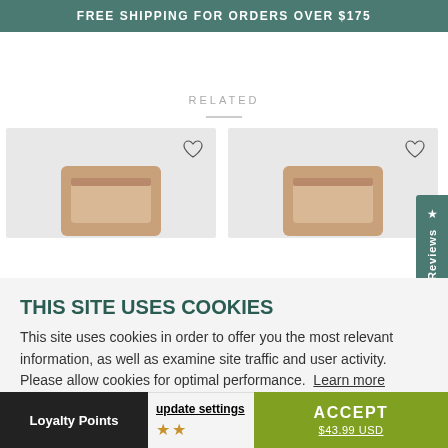FREE SHIPPING FOR ORDERS OVER $175
RELATED
[Figure (photo): Two kraft paper product bags shown as related product cards with heart/wishlist icons]
THIS SITE USES COOKIES
This site uses cookies in order to offer you the most relevant information, as well as examine site traffic and user activity. Please allow cookies for optimal performance. Learn more
update settings
ACCEPT
Loyalty Points
$43.99 USD